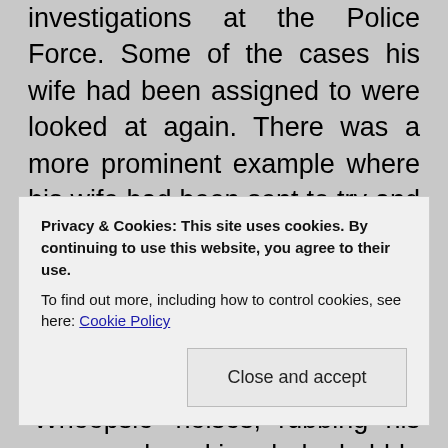investigations at the Police Force. Some of the cases his wife had been assigned to were looked at again. There was a more prominent example where his wife had been sent to try and seduce a Man who they suspected to be behind the sexual abuse of a pre-pubescent girl. When she had worked through her routine of making 'Whoopsie' noises, rubbing his arms and making baby-babble talk he had seemed really interested in her attentions. It was then concluded that he couldn't really be interested in young girls because he was genuinely attracted to his wife. On re-investigation, it transpired that he had been behind abusing the girl and was probably only actually attracted
Privacy & Cookies: This site uses cookies. By continuing to use this website, you agree to their use.
To find out more, including how to control cookies, see here: Cookie Policy
Close and accept